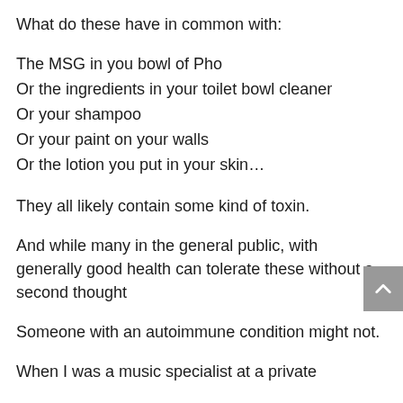What do these have in common with:
The MSG in you bowl of Pho
Or the ingredients in your toilet bowl cleaner
Or your shampoo
Or your paint on your walls
Or the lotion you put in your skin…
They all likely contain some kind of toxin.
And while many in the general public, with generally good health can tolerate these without a second thought
Someone with an autoimmune condition might not.
When I was a music specialist at a private